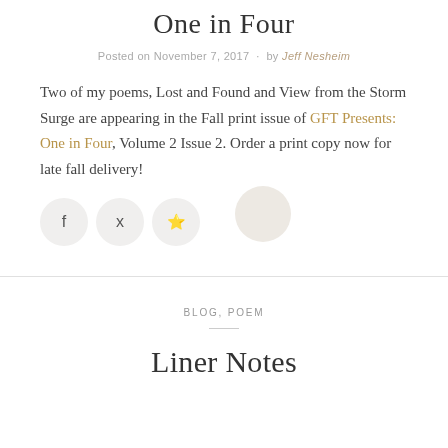One in Four
Posted on November 7, 2017 · by Jeff Nesheim
Two of my poems, Lost and Found and View from the Storm Surge are appearing in the Fall print issue of GFT Presents: One in Four, Volume 2 Issue 2. Order a print copy now for late fall delivery!
[Figure (other): Social sharing buttons: Facebook, Twitter, Pinterest icons in light grey circles, and an author avatar circle]
BLOG, POEM
Liner Notes